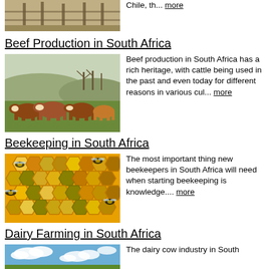[Figure (photo): Top-cropped image of a farm with wooden fence posts and dry grass landscape]
Chile, th... more
Beef Production in South Africa
[Figure (photo): Herd of brown and white Hereford cattle grazing in a green field with bare trees in background]
Beef production in South Africa has a rich heritage, with cattle being used in the past and even today for different reasons in various cul... more
Beekeeping in South Africa
[Figure (photo): Close-up of honeybees on honeycomb cells filled with colorful pollen]
The most important thing new beekeepers in South Africa will need when starting beekeeping is knowledge.... more
Dairy Farming in South Africa
[Figure (photo): Blue sky with clouds over a farm landscape]
The dairy cow industry in South